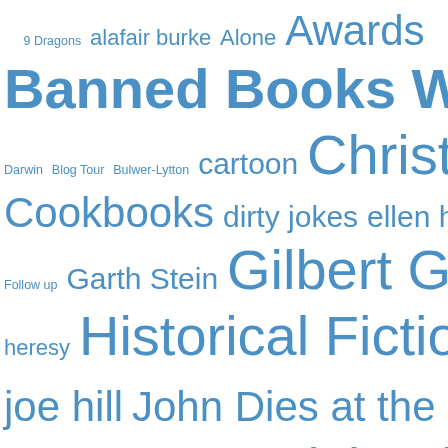[Figure (infographic): A word cloud of book-related tags and topics in various font sizes, all in blue. Terms include: 9 Dragons, alafair burke, Alone, Awards, Banned Books Week, BBAW, Blog for Darwin, Blog Tour, Bulwer-Lytton, cartoon, Christmas, Cookbooks, dirty jokes, ellen horan, Emily Bryant, Follow up, Garth Stein, Gilbert Gottfried, heresy, Historical Fiction, horns, Ice Cold, joe hill, John Dies at the End, Let the Right One In, library books, Michael Connelly, Mr. Darcy, Murder, NOBS, Obituary, Rubber Balls and Liquor, Sci-Fi, Secret Santa, Sharon Bially, Skiing, Tess Gerritsen, The Dead Hour, The Night Eternal, The Survivor's Club, Tony Hillerman, Valentine's Day, Walter Mosley, When Falls the...]